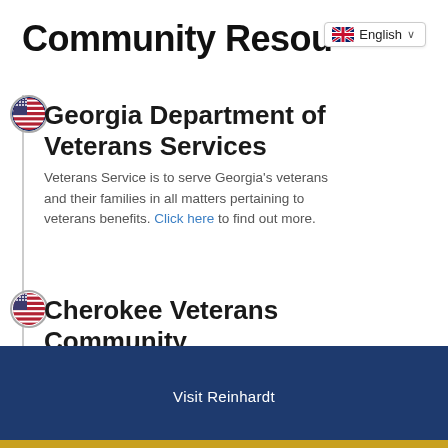Community Resources
[Figure (illustration): UK flag icon with English language selector dropdown badge]
Georgia Department of Veterans Services – Veterans Service is to serve Georgia's veterans and their families in all matters pertaining to veterans benefits. Click here to find out more.
Cherokee Veterans Community – The Cherokee Veterans Community ministry (CVC), is the military ministry at First Baptist Church Woodstock and is one of several military-
Visit Reinhardt